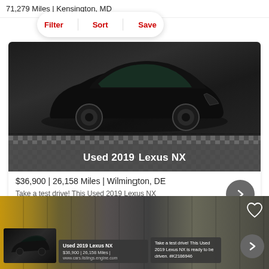71,279 Miles | Kensington, MD
Track Price   Che   Filter   Sort   Save
[Figure (photo): Black Used 2019 Lexus NX SUV on checkered floor showroom background]
Used 2019 Lexus NX
$36,900 | 26,158 Miles | Wilmington, DE
Take a test drive! This Used 2019 Lexus NX is ready to be driven. #K2186946
[Figure (screenshot): Bottom panel showing another view of Used 2019 Lexus NX listing with thumbnail, info box and description overlay]